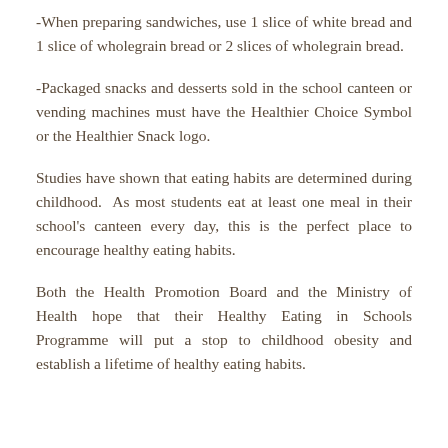-When preparing sandwiches, use 1 slice of white bread and 1 slice of wholegrain bread or 2 slices of wholegrain bread.
-Packaged snacks and desserts sold in the school canteen or vending machines must have the Healthier Choice Symbol or the Healthier Snack logo.
Studies have shown that eating habits are determined during childhood. As most students eat at least one meal in their school's canteen every day, this is the perfect place to encourage healthy eating habits.
Both the Health Promotion Board and the Ministry of Health hope that their Healthy Eating in Schools Programme will put a stop to childhood obesity and establish a lifetime of healthy eating habits.